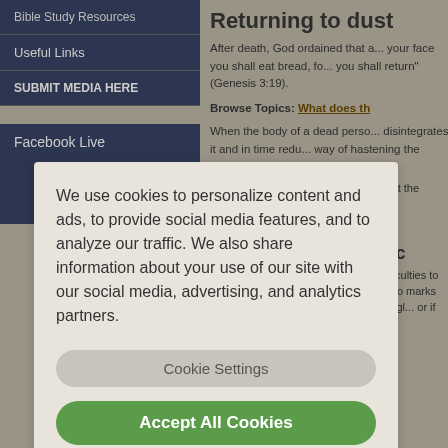Bible Study Resources
Useful Links
SUBMIT MEDIA HERE
Facebook Live
[Figure (logo): Facebook Live logo with blue 'f' icon and red LIVE button]
Returning to dust
After death, God ordained that a... your face you shall eat bread, fo... you shall return" (Genesis 3:19)
Browse Topics: What does th...
When the body of a dead perso... disintegrates it and in time redu... way of hastening the process of
Cremation does it in a few minute... but the results are the same—th...
Therefore, cremation is in har... dead.
The final resurrec...
The resurrection of the dusty re... difficulties to the Life-giver. The... of nothing and who marks the re... them back from the dead and gl... or if they were cremated or buri...
We use cookies to personalize content and ads, to provide social media features, and to analyze our traffic. We also share information about your use of our site with our social media, advertising, and analytics partners.
Cookie Settings
Accept All Cookies